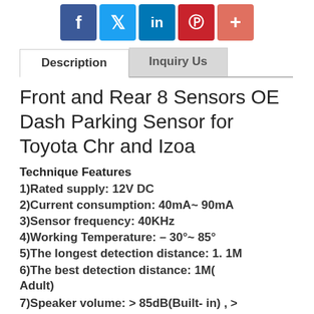[Figure (other): Social media share buttons: Facebook, Twitter, LinkedIn, Pinterest, and a plus/more button]
[Figure (other): Tab navigation with 'Description' (active) and 'Inquiry Us' (inactive) tabs]
Front and Rear 8 Sensors OE Dash Parking Sensor for Toyota Chr and Izoa
Technique Features
1)Rated supply: 12V DC
2)Current consumption: 40mA~ 90mA
3)Sensor frequency: 40KHz
4)Working Temperature: – 30°~ 85°
5)The longest detection distance: 1. 1M
6)The best detection distance: 1M( Adult)
7)Speaker volume: > 85dB(Built- in) , > 95dB( Standalone)